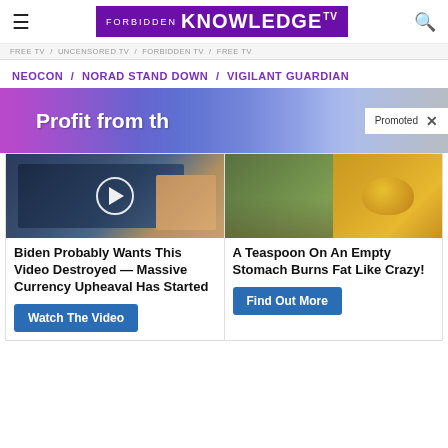Forbidden Knowledge TV
NEOCON / NORAD STAND DOWN / VIGILANT GUARDIAN
[Figure (photo): Banner advertisement showing 'Profit from th...' with a Promoted badge and close button]
[Figure (photo): Left ad card image: man in suit with play button overlay (video thumbnail from NYSE/financial setting)]
Biden Probably Wants This Video Destroyed — Massive Currency Upheaval Has Started
Watch The Video
[Figure (photo): Right ad card image: woman with flat stomach on left, pile of golden spice powder on right]
A Teaspoon On An Empty Stomach Burns Fat Like Crazy!
Find Out More